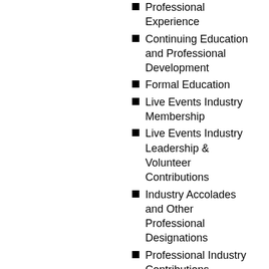Professional Experience
Continuing Education and Professional Development
Formal Education
Live Events Industry Membership
Live Events Industry Leadership & Volunteer Contributions
Industry Accolades and Other Professional Designations
Professional Industry Contributions
Every time you achieve a point save that documentation into the corresponding category folder
Keep a running tally